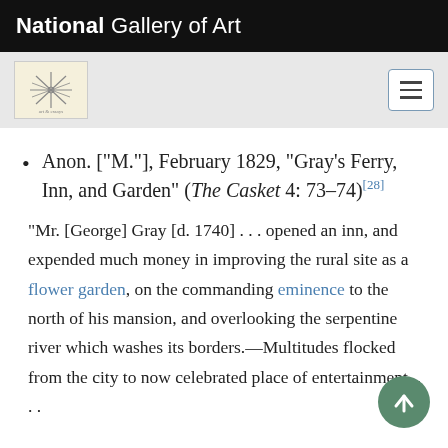National Gallery of Art
Anon. ["M."], February 1829, "Gray's Ferry, Inn, and Garden" (The Casket 4: 73–74)[28]
"Mr. [George] Gray [d. 1740] . . . opened an inn, and expended much money in improving the rural site as a flower garden, on the commanding eminence to the north of his mansion, and overlooking the serpentine river which washes its borders.—Multitudes flocked from the city to now celebrated place of entertainment. . . .